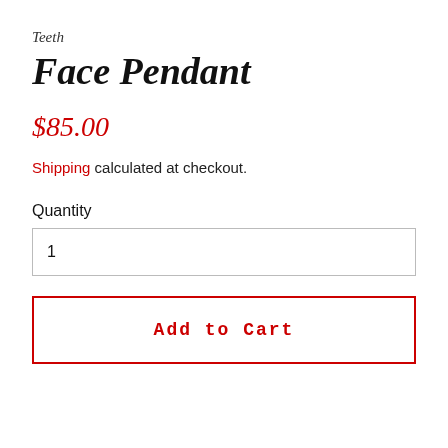Teeth
Face Pendant
$85.00
Shipping calculated at checkout.
Quantity
1
Add to Cart